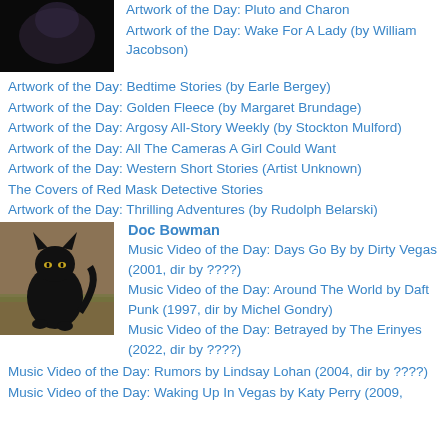[Figure (photo): Dark/black image, partial view at top]
Artwork of the Day: Pluto and Charon
Artwork of the Day: Wake For A Lady (by William Jacobson)
Artwork of the Day: Bedtime Stories (by Earle Bergey)
Artwork of the Day: Golden Fleece (by Margaret Brundage)
Artwork of the Day: Argosy All-Story Weekly (by Stockton Mulford)
Artwork of the Day: All The Cameras A Girl Could Want
Artwork of the Day: Western Short Stories (Artist Unknown)
The Covers of Red Mask Detective Stories
Artwork of the Day: Thrilling Adventures (by Rudolph Belarski)
[Figure (photo): Black cat standing outdoors on grass]
Doc Bowman
Music Video of the Day: Days Go By by Dirty Vegas (2001, dir by ????)
Music Video of the Day: Around The World by Daft Punk (1997, dir by Michel Gondry)
Music Video of the Day: Betrayed by The Erinyes (2022, dir by ????)
Music Video of the Day: Rumors by Lindsay Lohan (2004, dir by ????)
Music Video of the Day: Waking Up In Vegas by Katy Perry (2009,